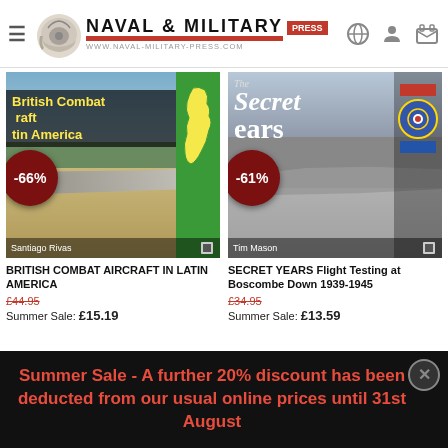[Figure (screenshot): Naval & Military Press website header with logo, hamburger menu, and icons]
[Figure (photo): Book cover: British Combat Aircraft in Latin America by Santiago Rivas, with -66% discount badge]
BRITISH COMBAT AIRCRAFT IN LATIN AMERICA
£44.95
Summer Sale: £15.19
[Figure (photo): Book cover: The Secret Years Flight Testing at Boscombe Down 1939-1945 by Tim Mason, with -61% discount badge]
SECRET YEARS Flight Testing at Boscombe Down 1939-1945
£34.95
Summer Sale: £13.59
Summer Sale - A further 20% discount has been deducted from our usual online prices until 31st August